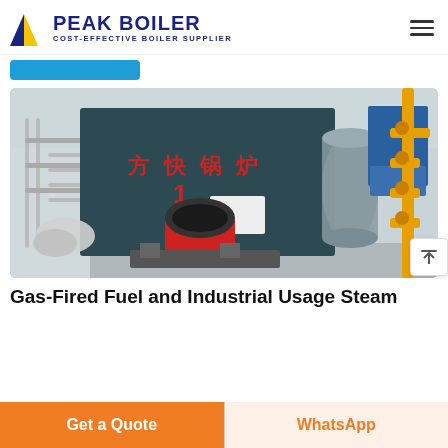PEAK BOILER — COST-EFFECTIVE BOILER SUPPLIER
[Figure (photo): Industrial gas-fired steam boiler in a factory setting. Large dark-blue rectangular boiler unit with Chinese characters (方快锅炉) in red, a red burner assembly at the front, silver insulated pipes on the left, yellow gas pipes on the right, and cylindrical pressure vessels visible.]
Gas-Fired Fuel and Industrial Usage Steam
Get a Quote
WhatsApp